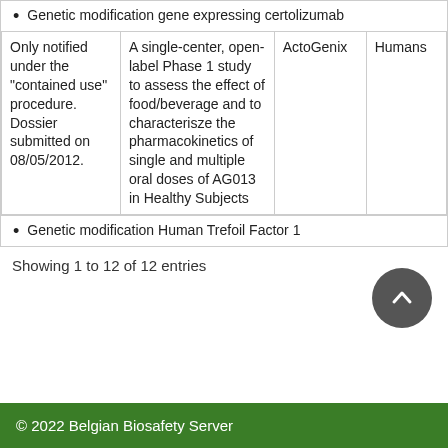Genetic modification gene expressing certolizumab
| Only notified under the "contained use" procedure. Dossier submitted on 08/05/2012. | A single-center, open-label Phase 1 study to assess the effect of food/beverage and to characterisze the pharmacokinetics of single and multiple oral doses of AG013 in Healthy Subjects | ActoGenix | Humans |
Genetic modification Human Trefoil Factor 1
Showing 1 to 12 of 12 entries
© 2022 Belgian Biosafety Server